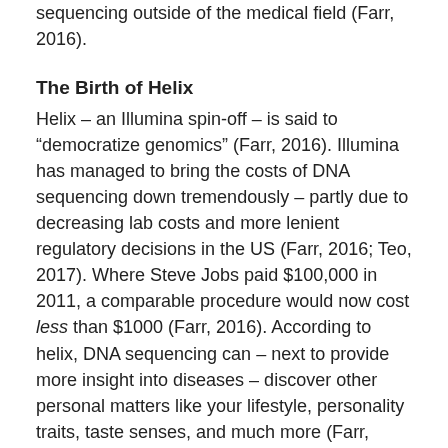sequencing outside of the medical field (Farr, 2016).
The Birth of Helix
Helix – an Illumina spin-off – is said to “democratize genomics” (Farr, 2016). Illumina has managed to bring the costs of DNA sequencing down tremendously – partly due to decreasing lab costs and more lenient regulatory decisions in the US (Farr, 2016; Teo, 2017). Where Steve Jobs paid $100,000 in 2011, a comparable procedure would now cost less than $1000 (Farr, 2016). According to helix, DNA sequencing can – next to provide more insight into diseases – discover other personal matters like your lifestyle, personality traits, taste senses, and much more (Farr, 2016). See where I am going with this?
Helix provides many different products. They – for now – offer six different product categories (Helix, 2018).